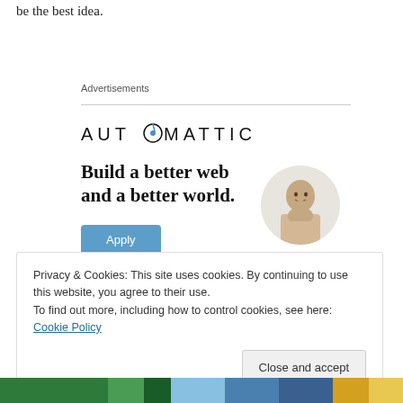be the best idea.
Advertisements
[Figure (logo): Automattic logo with compass icon replacing the letter O]
Build a better web and a better world.
Apply
[Figure (photo): Circular cropped photo of a person thinking, touching their beard]
Privacy & Cookies: This site uses cookies. By continuing to use this website, you agree to their use.
To find out more, including how to control cookies, see here: Cookie Policy
Close and accept
[Figure (photo): Bottom strip of a colorful image with green and blue tones]